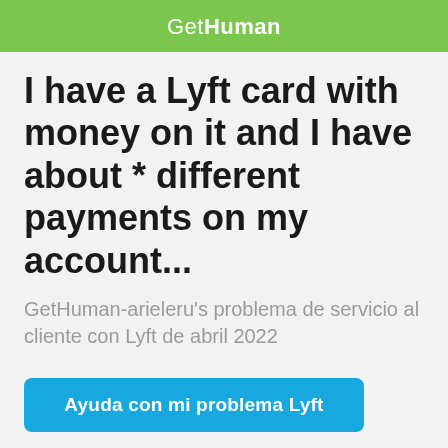GetHuman
I have a Lyft card with money on it and I have about * different payments on my account...
GetHuman-arieleru's problema de servicio al cliente con Lyft de abril 2022
Ayuda con mi problema Lyft